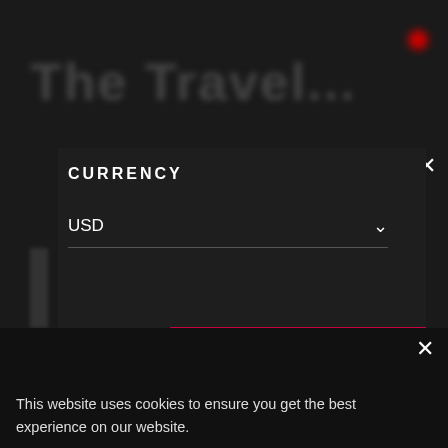[Figure (screenshot): Dark website background with blurred content behind a modal dialog]
CURRENCY
USD
SAVE PREFERENCES
This website uses cookies to ensure you get the best experience on our website.